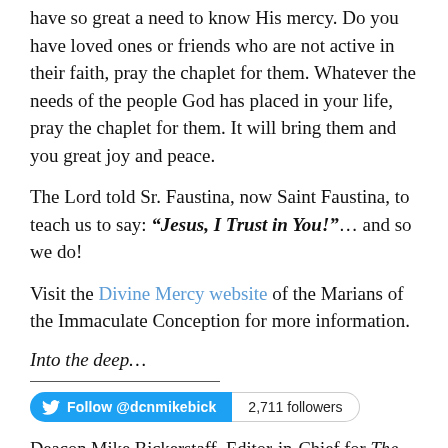have so great a need to know His mercy. Do you have loved ones or friends who are not active in their faith, pray the chaplet for them. Whatever the needs of the people God has placed in your life, pray the chaplet for them. It will bring them and you great joy and peace.
The Lord told Sr. Faustina, now Saint Faustina, to teach us to say: “Jesus, I Trust in You!”… and so we do!
Visit the Divine Mercy website of the Marians of the Immaculate Conception for more information.
Into the deep…
Follow @dcnmikebick  2,711 followers
Deacon Mike Bickerstaff, Editor-in-Chief for The Integrated Catholic Life™, is the Director of Adult Education and Evangelization at his parish and a deacon